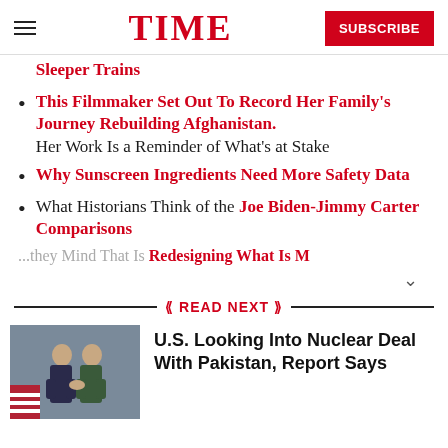TIME | SUBSCRIBE
Sleeper Trains
This Filmmaker Set Out To Record Her Family’s Journey Rebuilding Afghanistan. Her Work Is a Reminder of What’s at Stake
Why Sunscreen Ingredients Need More Safety Data
What Historians Think of the Joe Biden-Jimmy Carter Comparisons
...they Mind That Is Redesigning What Is M...
« READ NEXT »
U.S. Looking Into Nuclear Deal With Pakistan, Report Says